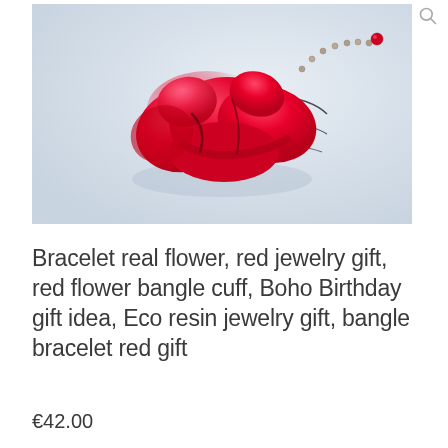[Figure (photo): A red flower bracelet bangle cuff with a chain, placed on a light blue-grey background. The bracelet is made from a vivid red resin flower shape with dark wire/chain elements.]
Bracelet real flower, red jewelry gift, red flower bangle cuff, Boho Birthday gift idea, Eco resin jewelry gift, bangle bracelet red gift
€42.00